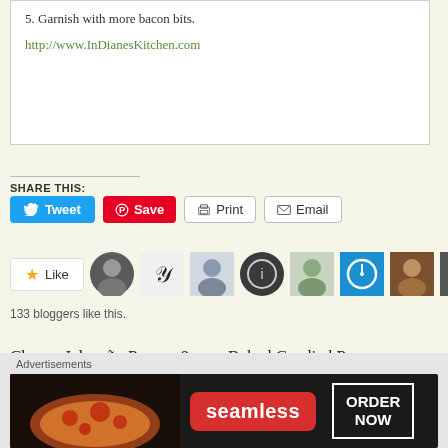5. Garnish with more bacon bits.
http://www.InDianesKitchen.com
SHARE THIS:
[Figure (other): Social share buttons: Tweet (blue), Save (red Pinterest), Print, Email]
[Figure (other): Like button with star and 9 blogger avatar thumbnails]
133 bloggers like this.
Cheesy Jalapeño Pepper & Bacon Dip
September 18, 2021
Baked Candied Pepper Bacon
July 8, 2021
[Figure (other): Seamless food delivery advertisement banner showing pizza with ORDER NOW button]